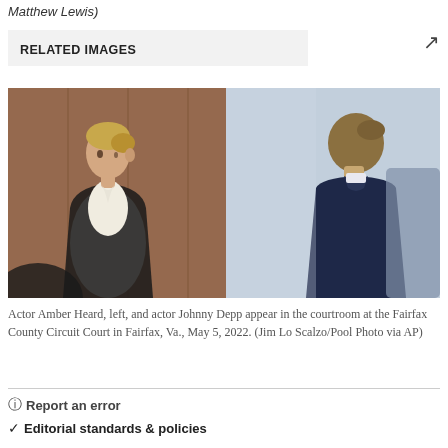Matthew Lewis)
RELATED IMAGES
[Figure (photo): Actor Amber Heard, left, and actor Johnny Depp appear in the courtroom at the Fairfax County Circuit Court in Fairfax, Va., May 5, 2022. Two-panel photo: left panel shows Amber Heard in a white blouse and black jacket; right panel shows Johnny Depp from behind in a dark suit.]
Actor Amber Heard, left, and actor Johnny Depp appear in the courtroom at the Fairfax County Circuit Court in Fairfax, Va., May 5, 2022. (Jim Lo Scalzo/Pool Photo via AP)
Report an error
Editorial standards & policies